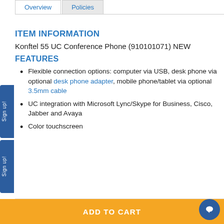Overview | Policies
ITEM INFORMATION
Konftel 55 UC Conference Phone (910101071) NEW
FEATURES
Flexible connection options: computer via USB, desk phone via optional desk phone adapter, mobile phone/tablet via optional 3.5mm cable
UC integration with Microsoft Lync/Skype for Business, Cisco, Jabber and Avaya
Color touchscreen